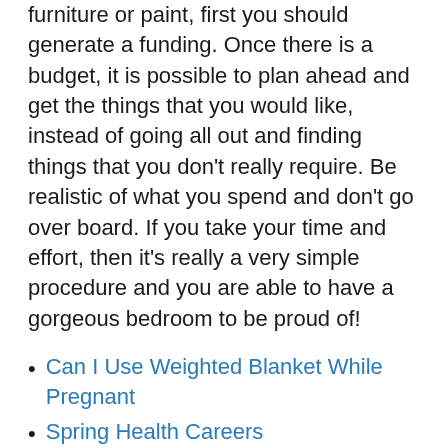furniture or paint, first you should generate a funding. Once there is a budget, it is possible to plan ahead and get the things that you would like, instead of going all out and finding things that you don't really require. Be realistic of what you spend and don't go over board. If you take your time and effort, then it's really a very simple procedure and you are able to have a gorgeous bedroom to be proud of!
Can I Use Weighted Blanket While Pregnant
Spring Health Careers
Does Douglas Mattress Sleep Hot
Carter Moving And Home Improvement
What Does A Weighted Cooling Blanket Do
Best Weighted Blanket That Is Not Hot